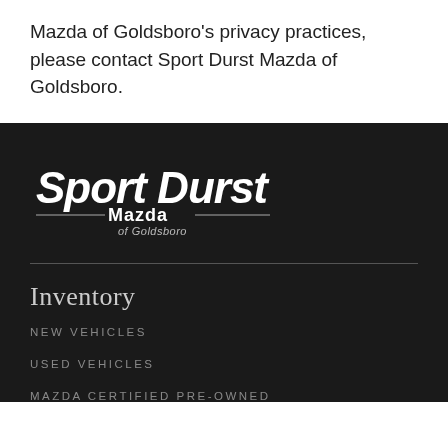Mazda of Goldsboro's privacy practices, please contact Sport Durst Mazda of Goldsboro.
[Figure (logo): Sport Durst Mazda of Goldsboro logo — white text on dark background with decorative horizontal lines flanking 'Mazda']
Inventory
NEW VEHICLES
USED VEHICLES
MAZDA CERTIFIED PRE-OWNED